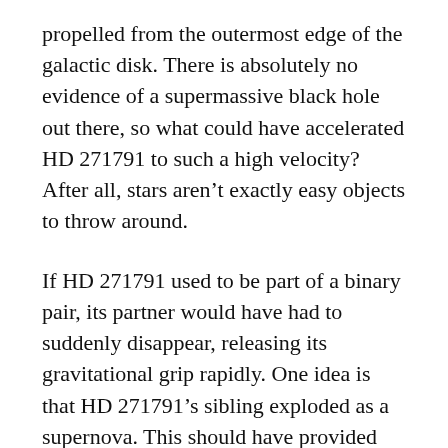propelled from the outermost edge of the galactic disk. There is absolutely no evidence of a supermassive black hole out there, so what could have accelerated HD 271791 to such a high velocity? After all, stars aren't exactly easy objects to throw around.
If HD 271791 used to be part of a binary pair, its partner would have had to suddenly disappear, releasing its gravitational grip rapidly. One idea is that HD 271791's sibling exploded as a supernova. This should have provided the sudden loss in a gravitational field — the rapidly expanding supernova plasma will have dispersed the gravitational influence of the star.